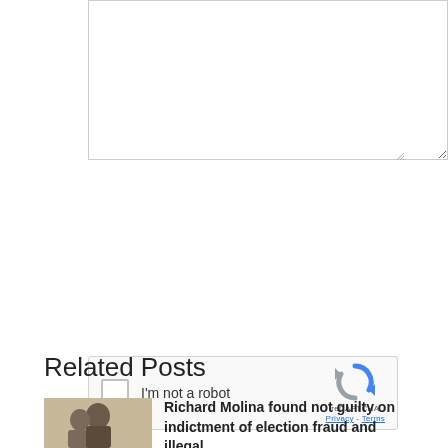[Figure (screenshot): Empty text area input box with resize handle at bottom right]
[Figure (screenshot): reCAPTCHA widget with checkbox, 'I'm not a robot' label, reCAPTCHA logo, Privacy and Terms links]
Submit Comment
Related Posts
Richard Molina found not guilty on indictment of election fraud and illegal